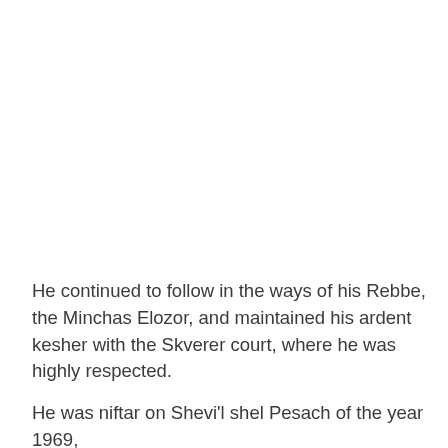He continued to follow in the ways of his Rebbe, the Minchas Elozor, and maintained his ardent kesher with the Skverer court, where he was highly respected.
He was niftar on Shevi'l shel Pesach of the year 1969,